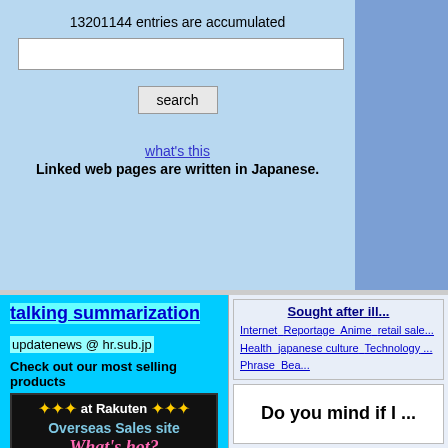13201144 entries are accumulated
[Figure (screenshot): Search input box and search button on light blue background]
what's this
Linked web pages are written in Japanese.
talking summarization
updatenews @ hr.sub.jp
Check out our most selling products
[Figure (photo): Rakuten Overseas Sales site - What's hot? advertisement banner. 'Made in Japan' quality brand that is safe and trustable.]
Sought after ill...
Internet  Reportage  Anime  retail sales...  Health  japanese culture  Technology  ...  Phrase  Bea...
Do you mind if I...